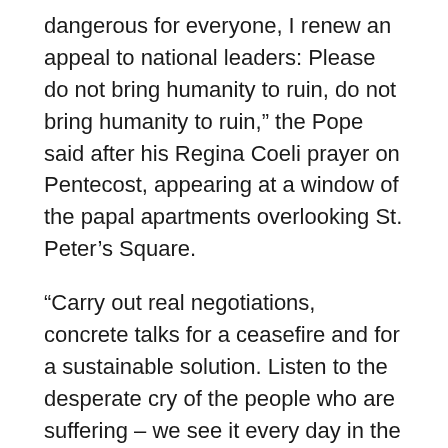dangerous for everyone, I renew an appeal to national leaders: Please do not bring humanity to ruin, do not bring humanity to ruin,” the Pope said after his Regina Coeli prayer on Pentecost, appearing at a window of the papal apartments overlooking St. Peter’s Square.
“Carry out real negotiations, concrete talks for a ceasefire and for a sustainable solution. Listen to the desperate cry of the people who are suffering – we see it every day in the media – respect human life, stop the macabre destruction of cities and villages everywhere,” he added.